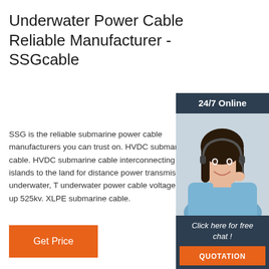Underwater Power Cable Reliable Manufacturer - SSGcable
SSG is the reliable submarine power cable manufacturers you can trust on. HVDC submarine cable. HVDC submarine cable interconnecting the islands to the land for distance power transmission underwater, T underwater power cable voltage can be up 525kv. XLPE submarine cable.
[Figure (photo): Customer service representative woman wearing headset, smiling, with '24/7 Online' header and 'Click here for free chat!' text and orange QUOTATION button below]